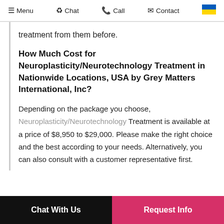Menu  Chat  Call  Contact
treatment from them before.
How Much Cost for Neuroplasticity/Neurotechnology Treatment in Nationwide Locations, USA by Grey Matters International, Inc?
Depending on the package you choose, Neuroplasticity/Neurotechnology Treatment is available at a price of $8,950 to $29,000. Please make the right choice and the best according to your needs. Alternatively, you can also consult with a customer representative first.
Chat With Us   Request Info